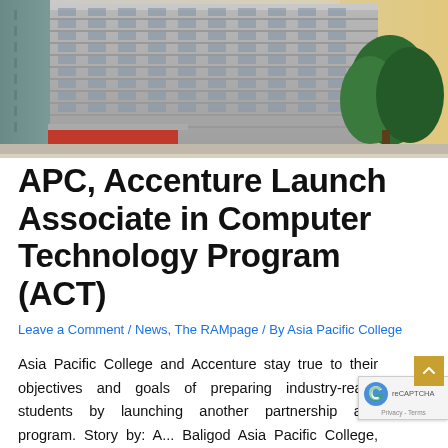[Figure (photo): Exterior photo of a multi-story institutional building (Asia Pacific College), showing a tall concrete structure with horizontal banded windows, a covered red-accented entrance canopy, and green trees on the right side. Background has a warm yellow-orange sky.]
APC, Accenture Launch Associate in Computer Technology Program (ACT)
Leave a Comment / News, The RAMpage / By Asia Pacific College
Asia Pacific College and Accenture stay true to their objectives and goals of preparing industry-ready students by launching another partnership and program. Story by: A... Baligod Asia Pacific College, together with Accenture, officially...